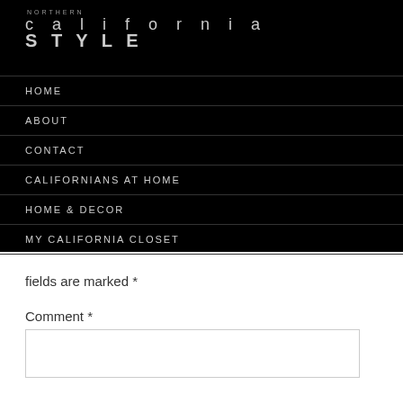NORTHERN california STYLE
HOME
ABOUT
CONTACT
CALIFORNIANS AT HOME
HOME & DECOR
MY CALIFORNIA CLOSET
fields are marked *
Comment *